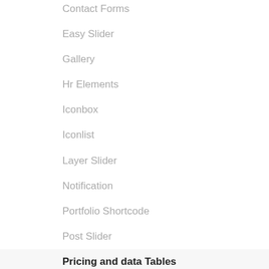Contact Forms
Easy Slider
Gallery
Hr Elements
Iconbox
Iconlist
Layer Slider
Notification
Portfolio Shortcode
Post Slider
Pricing and data Tables
Progress Bars
Promo Box